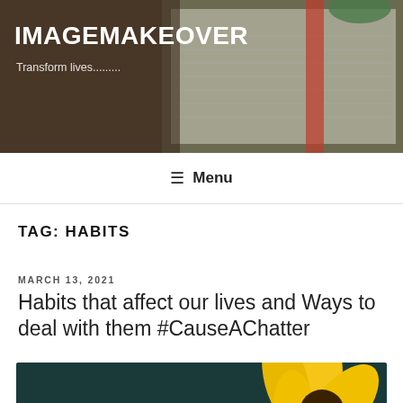IMAGEMAKEOVER
Transform lives.........
≡ Menu
TAG: HABITS
MARCH 13, 2021
Habits that affect our lives and Ways to deal with them #CauseAChatter
[Figure (photo): Yellow sunflowers photo with a blue circle overlay containing the text #CauseAChatter]